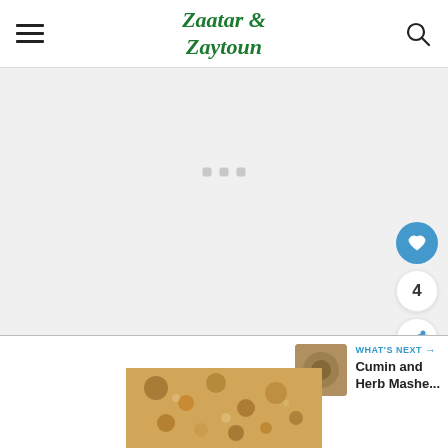Zaatar & Zaytoun
[Figure (screenshot): Loading placeholder area with three small grey square dots in the center of a light grey background]
[Figure (other): Blue circular heart/favorite button]
4
[Figure (other): White circular share button with blue share icon]
WHAT'S NEXT → Cumin and Herb Mashe...
[Figure (photo): Close-up photo of food — cumin and herb mashed dish with brown and beige tones]